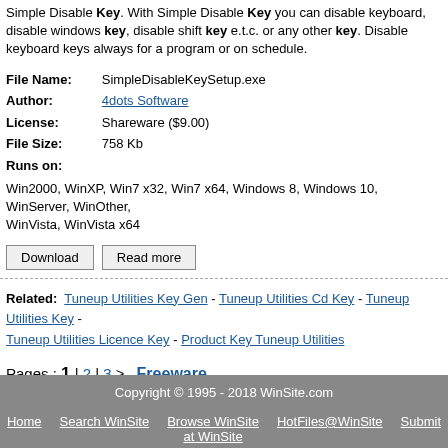Simple Disable Key. With Simple Disable Key you can disable keyboard, disable windows key, disable shift key e.t.c. or any other key. Disable keyboard keys always for a program or on schedule.
| File Name: | SimpleDisableKeySetup.exe |
| Author: | 4dots Software |
| License: | Shareware ($9.00) |
| File Size: | 758 Kb |
| Runs on: | Win2000, WinXP, Win7 x32, Win7 x64, Windows 8, Windows 10, WinServer, WinOther, WinVista, WinVista x64 |
[Figure (other): Download and Read more buttons]
Related: Tuneup Utilities Key Gen - Tuneup Utilities Cd Key - Tuneup Utilities Key - Tuneup Utilities Licence Key - Product Key Tuneup Utilities
Pages : 1 | 2 | 3 ≥   Freeware
Copyright © 1995 - 2018 WinSite.com | Home | Search WinSite | Browse WinSite at WinSite | HotFiles@WinSite | Submit